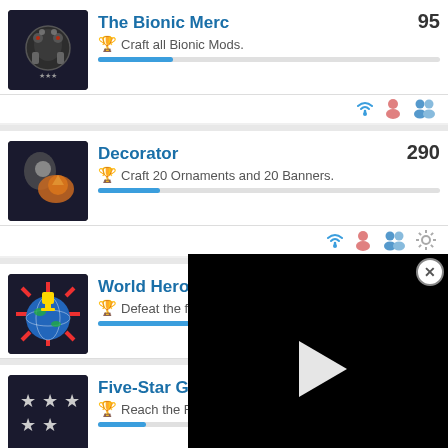[Figure (screenshot): Achievement list from a game, showing The Bionic Merc (95), Decorator (290), World Hero, and Five-Star General (85) with progress bars and social icons. A video overlay with play button is shown over the World Hero entry.]
The Bionic Merc 95 - Craft all Bionic Mods.
Decorator 290 - Craft 20 Ornaments and 20 Banners.
World Hero - Defeat the final boss
Five-Star General 85 - Reach the Five-Star General rank.